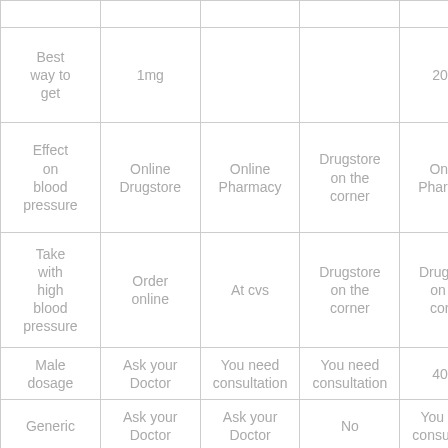|  | col2 | col3 | col4 | col5 | amoxicla... |
| --- | --- | --- | --- | --- | --- |
| Best way to get | 1mg |  |  | 20mg |  |
| Effect on blood pressure | Online Drugstore | Online Pharmacy | Drugstore on the corner | Online Pharmacy | At cvs |
| Take with high blood pressure | Order online | At cvs | Drugstore on the corner | Drugstore on the corner | Indian Pharmac... |
| Male dosage | Ask your Doctor | You need consultation | You need consultation | 40mg | Ask your Doctor |
| Generic | Ask your Doctor | Ask your Doctor | No | You need consultation | Yes |
| Brand | No | Yes | Yes | No | Yes |
| Best price for | Online | Yes | REFILL | REFILL | Possible |